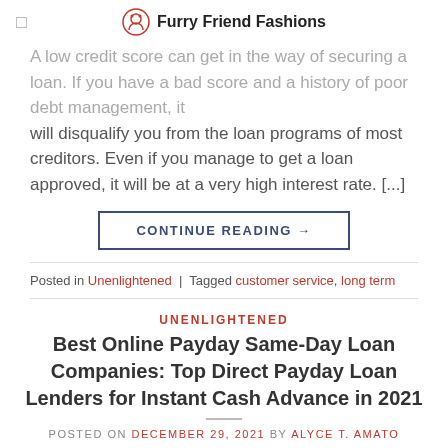Furry Friend Fashions
A low credit score can get in the way of securing a loan. If you have a bad score and a history of poor debt management, it will disqualify you from the loan programs of most creditors. Even if you manage to get a loan approved, it will be at a very high interest rate. [...]
CONTINUE READING →
Posted in Unenlightened | Tagged customer service, long term
UNENLIGHTENED
Best Online Payday Same-Day Loan Companies: Top Direct Payday Loan Lenders for Instant Cash Advance in 2021
POSTED ON DECEMBER 29, 2021 BY ALYCE T. AMATO